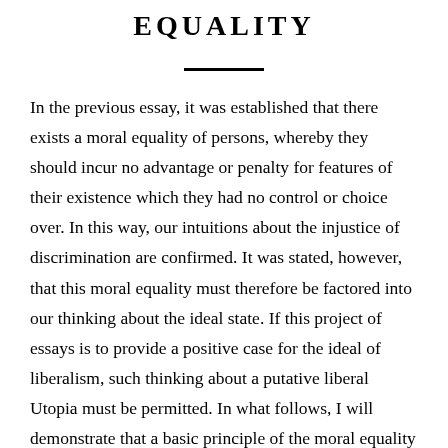EQUALITY
In the previous essay, it was established that there exists a moral equality of persons, whereby they should incur no advantage or penalty for features of their existence which they had no control or choice over. In this way, our intuitions about the injustice of discrimination are confirmed. It was stated, however, that this moral equality must therefore be factored into our thinking about the ideal state. If this project of essays is to provide a positive case for the ideal of liberalism, such thinking about a putative liberal Utopia must be permitted. In what follows, I will demonstrate that a basic principle of the moral equality of persons...